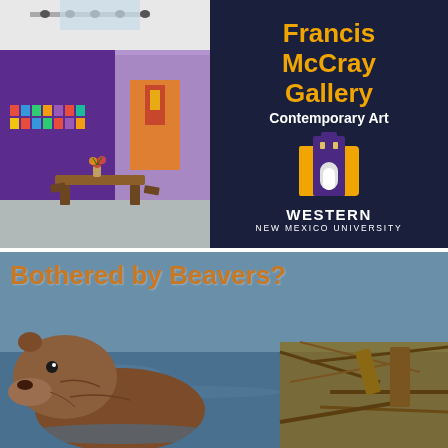[Figure (photo): Interior of Francis McCray Gallery showing purple walls with colorful artwork, a wooden bench with flowers, and track lighting overhead]
Francis McCray Gallery
Contemporary Art
[Figure (logo): Western New Mexico University logo — building icon with gold arch and purple tower, text reads WESTERN NEW MEXICO UNIVERSITY]
[Figure (photo): Beaver in water near a dam made of sticks and logs, with text overlay: Bothered by Beavers?]